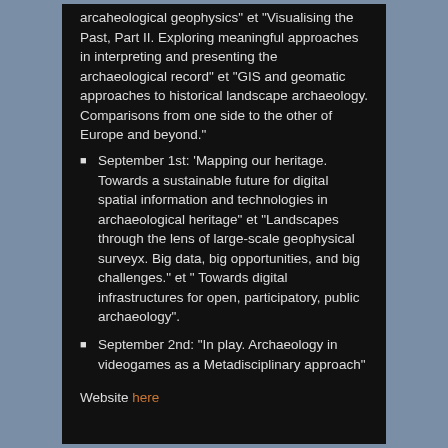arcaheological geophysics" et "Visualising the Past, Part II. Exploring meaningful approaches in interpreting and presenting the archaeological record" et "GIS and geomatic approaches to historical landscape archaeology. Comparisons from one side to the other of Europe and beyond."
September 1st: 'Mapping our heritage. Towards a sustainable future for digital spatial information and technologies in archaeological heritage" et "Landscapes through the lens of large-scale geophysical surveyx. Big data, big opportunities, and big challenges." et " Towards digital infrastructures for open, participatory, public archaeology".
September 2nd: "In play. Archaeology in videogames as a Metadisciplinary approach"
Website here